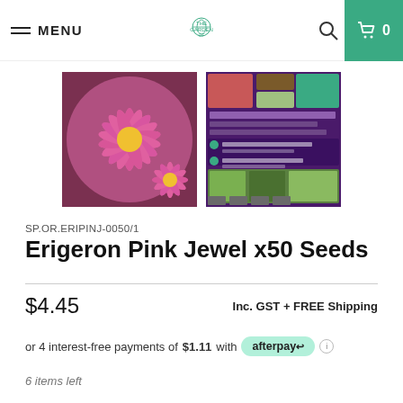MENU | [Logo] | [Search] | Cart 0
[Figure (photo): Two product images: left shows pink Erigeron daisy flowers, right shows the seed packet with purple design and plant images]
SP.OR.ERIPINJ-0050/1
Erigeron Pink Jewel x50 Seeds
$4.45
Inc. GST + FREE Shipping
or 4 interest-free payments of $1.11 with afterpay
6 items left